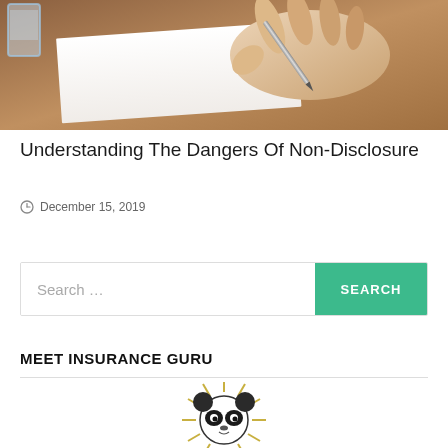[Figure (photo): A person's hand holding a pen and writing on white paper, with a glass of water visible on a desk]
Understanding The Dangers Of Non-Disclosure
December 15, 2019
Search …
MEET INSURANCE GURU
[Figure (illustration): A cartoon panda mascot with a golden halo/sunburst effect around its head — the Insurance Guru mascot]